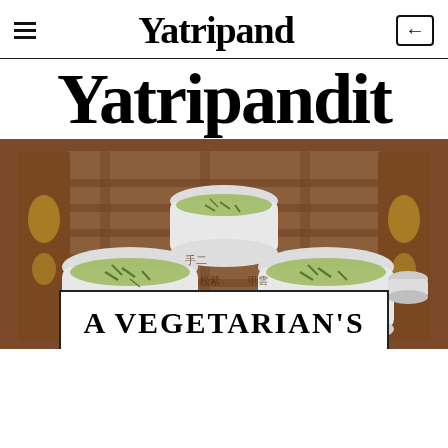Yatripand
Yatripandit
[Figure (photo): Three white ceramic cups filled with green tea (with visible tea leaves) arranged on a wooden slatted tea tray with gold inlaid floral decoration on the sides. Chinese characters visible on the wooden tray.]
A VEGETARIAN'S